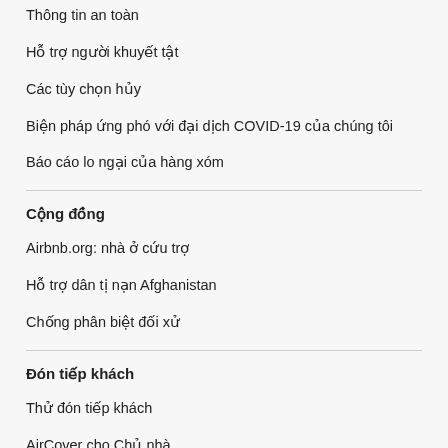Thông tin an toàn
Hỗ trợ người khuyết tật
Các tùy chọn hủy
Biện pháp ứng phó với đại dịch COVID-19 của chúng tôi
Báo cáo lo ngại của hàng xóm
Cộng đồng
Airbnb.org: nhà ở cứu trợ
Hỗ trợ dân tị nạn Afghanistan
Chống phân biệt đối xử
Đón tiếp khách
Thử đón tiếp khách
AirCover cho Chủ nhà